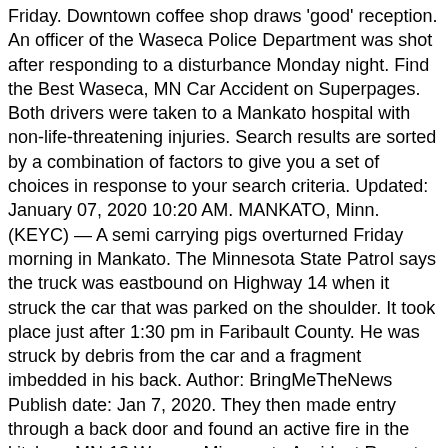Friday. Downtown coffee shop draws 'good' reception. An officer of the Waseca Police Department was shot after responding to a disturbance Monday night. Find the Best Waseca, MN Car Accident on Superpages. Both drivers were taken to a Mankato hospital with non-life-threatening injuries. Search results are sorted by a combination of factors to give you a set of choices in response to your search criteria. Updated: January 07, 2020 10:20 AM. MANKATO, Minn. (KEYC) — A semi carrying pigs overturned Friday morning in Mankato. The Minnesota State Patrol says the truck was eastbound on Highway 14 when it struck the car that was parked on the shoulder. It took place just after 1:30 pm in Faribault County. He was struck by debris from the car and a fragment imbedded in his back. Author: BringMeTheNews Publish date: Jan 7, 2020. They then made entry through a back door and found an active fire in the kitchen. MN-13 Waseca Minnesota Accident Reports. MN News. It had been the home of the late Stanley Busta. Authorities say shortly before 10 p.m., Palmer lost control of her vehicle and the vehicle left the roadway. Waseca, MN; Truck Accident; Truck Accident in Waseca, MN. TODD HALE: Brad Meier, Chamber President gives his outlook … Description: I phoned them today at around 3 PM and they showed up in a few hours. A Faribault woman is the ninth person to die on Rice County roads this year. Patricia Kay Bothke